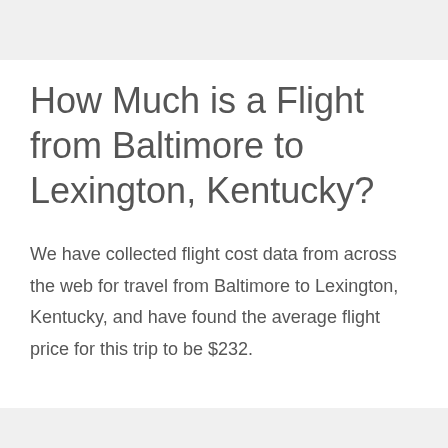How Much is a Flight from Baltimore to Lexington, Kentucky?
We have collected flight cost data from across the web for travel from Baltimore to Lexington, Kentucky, and have found the average flight price for this trip to be $232.